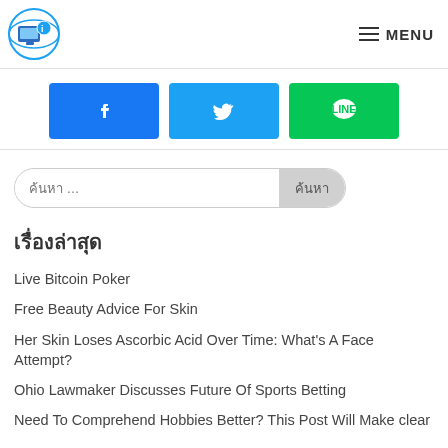Logo | MENU
[Figure (other): Three social share buttons: Facebook (blue), Twitter (light blue), LINE (green)]
ค้นหา … ค้นหา (search bar)
เรื่องล่าสุด
Live Bitcoin Poker
Free Beauty Advice For Skin
Her Skin Loses Ascorbic Acid Over Time: What's A Face Attempt?
Ohio Lawmaker Discusses Future Of Sports Betting
Need To Comprehend Hobbies Better? This Post Will Make clear
ความเห็นล่าสุด